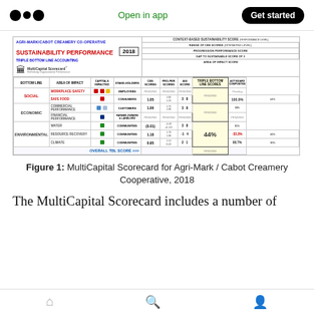Open in app | Get started
[Figure (table-as-image): MultiCapital Scorecard for Agri-Mark/Cabot Creamery Co-Operative, 2018 sustainability performance triple bottom line accounting. Table showing bottom line categories (Social, Economic, Environmental), areas of impact (Workplace Safety, Safe Food, Commercial Performance, Financial Performance, Water, Resource Recovery, Climate), capitals impacted, stakeholders, CBS scores, pro-per scores, AGI scores, triple bottom line scores, and AOT scores.]
Figure 1: MultiCapital Scorecard for Agri-Mark / Cabot Creamery Cooperative, 2018
The MultiCapital Scorecard includes a number of
Home | Search | Profile